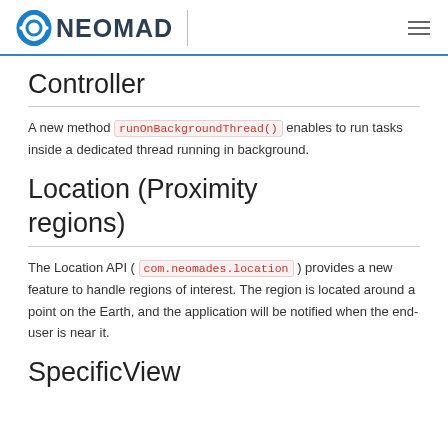NEOMAD
Controller
A new method runOnBackgroundThread() enables to run tasks inside a dedicated thread running in background.
Location (Proximity regions)
The Location API ( com.neomades.location ) provides a new feature to handle regions of interest. The region is located around a point on the Earth, and the application will be notified when the end-user is near it.
SpecificView